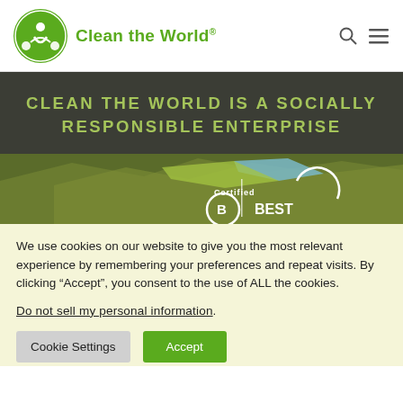Clean the World
CLEAN THE WORLD IS A SOCIALLY RESPONSIBLE ENTERPRISE
[Figure (photo): Certified B Corp / Best for the World certification badge overlaid on a green terrain/map background image]
We use cookies on our website to give you the most relevant experience by remembering your preferences and repeat visits. By clicking “Accept”, you consent to the use of ALL the cookies.
Do not sell my personal information.
Cookie Settings   Accept